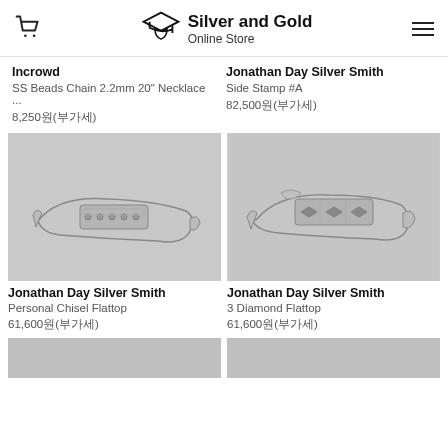Silver and Gold Online Store
Incrowd
SS Beads Chain 2.2mm 20" Necklace ...
8,250원(부가세)
Jonathan Day Silver Smith
Side Stamp #A
82,500원(부가세)
[Figure (photo): Silver cuff bracelet with decorative stamped pattern, personal chisel flattop design, on gray background]
Jonathan Day Silver Smith
Personal Chisel Flattop
61,600원(부가세)
[Figure (photo): Silver cuff bracelet with 3 diamond flattop stamp pattern on gray background]
Jonathan Day Silver Smith
3 Diamond Flattop
61,600원(부가세)
[Figure (photo): Partially visible product image at bottom left]
[Figure (photo): Partially visible product image at bottom right]